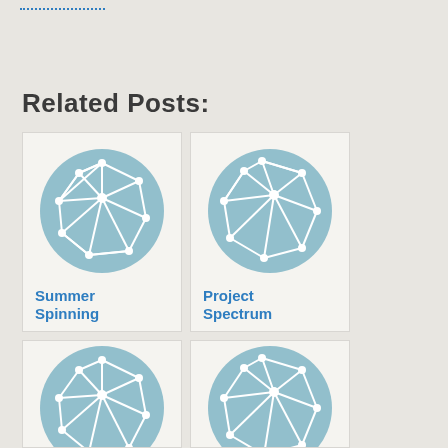Related Posts:
[Figure (illustration): Network/mesh icon on light blue circle background - Summer Spinning]
Summer Spinning
[Figure (illustration): Network/mesh icon on light blue circle background - Project Spectrum]
Project Spectrum
[Figure (illustration): Network/mesh icon on light blue circle background - bottom left card]
[Figure (illustration): Network/mesh icon on light blue circle background - bottom right card]